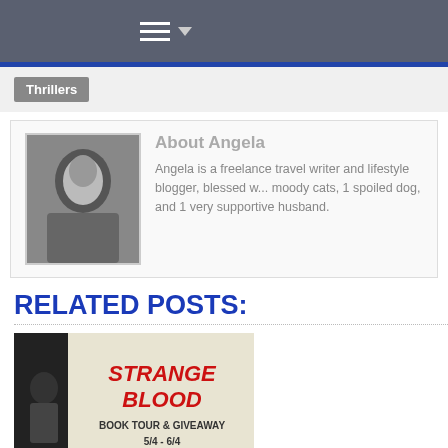Navigation bar with hamburger menu
Thrillers
About Angela
Angela is a freelance travel writer and lifestyle blogger, blessed w... moody cats, 1 spoiled dog, and 1 very supportive husband.
RELATED POSTS:
[Figure (photo): Strange Blood Horror Book Tour & Giveaway 5/4 - 6/4 book cover image]
Strange Blood Horror Book Spotlight...
[Figure (photo): Inside The Asylum book cover image, partial view]